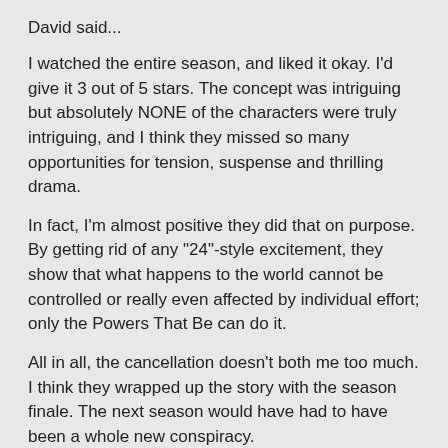David said...
I watched the entire season, and liked it okay. I'd give it 3 out of 5 stars. The concept was intriguing but absolutely NONE of the characters were truly intriguing, and I think they missed so many opportunities for tension, suspense and thrilling drama.
In fact, I'm almost positive they did that on purpose. By getting rid of any "24"-style excitement, they show that what happens to the world cannot be controlled or really even affected by individual effort; only the Powers That Be can do it.
All in all, the cancellation doesn't both me too much. I think they wrapped up the story with the season finale. The next season would have had to have been a whole new conspiracy.